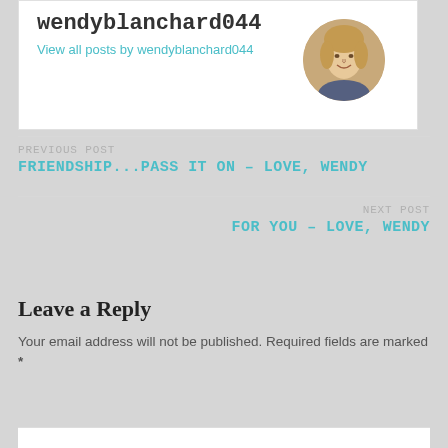wendyblanchard044
View all posts by wendyblanchard044
[Figure (photo): Circular avatar photo of a blonde woman smiling]
PREVIOUS POST
FRIENDSHIP...PASS IT ON – LOVE, WENDY
NEXT POST
FOR YOU – LOVE, WENDY
Leave a Reply
Your email address will not be published. Required fields are marked *